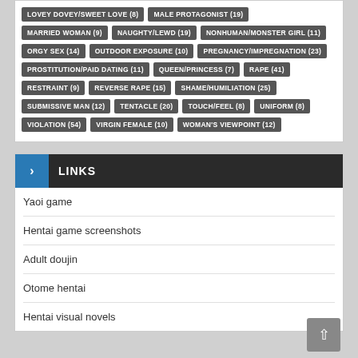LOVEY DOVEY/SWEET LOVE (8)
MALE PROTAGONIST (19)
MARRIED WOMAN (9)
NAUGHTY/LEWD (19)
NONHUMAN/MONSTER GIRL (11)
ORGY SEX (14)
OUTDOOR EXPOSURE (10)
PREGNANCY/IMPREGNATION (23)
PROSTITUTION/PAID DATING (11)
QUEEN/PRINCESS (7)
RAPE (41)
RESTRAINT (9)
REVERSE RAPE (15)
SHAME/HUMILIATION (25)
SUBMISSIVE MAN (12)
TENTACLE (20)
TOUCH/FEEL (8)
UNIFORM (8)
VIOLATION (54)
VIRGIN FEMALE (10)
WOMAN'S VIEWPOINT (12)
LINKS
Yaoi game
Hentai game screenshots
Adult doujin
Otome hentai
Hentai visual novels